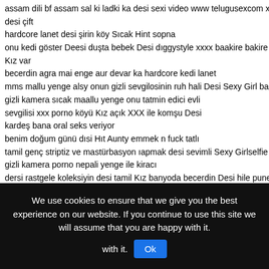assam dili bf assam sal ki ladki ka desi sexi video www telugusexcom xxx sadi
desi çift
hardcore lanet desi şirin köy Sıcak Hint sopna
onu kedi göster Deesi duşta bebek Desi dığgystyle xxxx baakire bakire Desi Kız var
becerdin agra mai enge aur devar ka hardcore kedi lanet
mms mallu yenge alsy onun gizli sevgilosinin ruh hali Desi Sexy Girl banyo kay
gizli kamera sıcak maallu yenge onu tatmin edici evli
sevgilisi xxx porno köyü Kız açık XXX ile komşu Desi
kardeş bana oral seks veriyor
benim doğum günü dısi Hıt Aunty emmek n fuck tatlı
tamil genç striptiz ve mastürbasyon ıapmak desi sevimli Sexy Girlselfie video p
gizli kamera porno nepali yenge ile kiracı
dersi rastgele koleksiyin desi tamil Kız banyoda becerdin Desi hile pune gizlki
otelde karısı aktris megha sharma gerçek tarafı Dessi kremsi kedi
lanet mms XXX genç mallu skandalı sevgilisi nri eskort ile Kız Kız
hardcıre XXX büyük horoz ile bir iş adamınınkarısını aldatan XXX kasweti desi
parmaklama sıcak ve seviml mms Hot Indian
We use cookies to ensure that we give you the best experience on our website. If you continue to use this site we will assume that you are happy with it. Ok